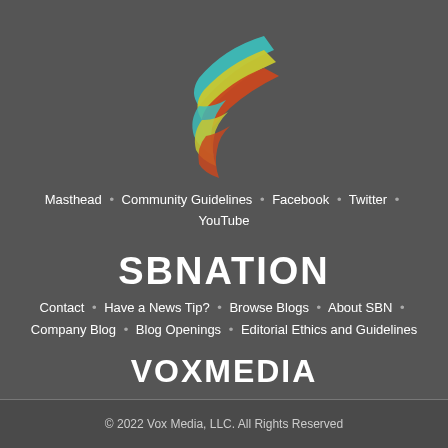[Figure (logo): SB Nation / Vox Media stylized logo with three curved ribbon shapes in teal, yellow, and red-orange forming a chevron/arrow pattern]
Masthead • Community Guidelines • Facebook • Twitter • YouTube
SBNATION
Contact • Have a News Tip? • Browse Blogs • About SBN • Company Blog • Blog Openings • Editorial Ethics and Guidelines
VOXMEDIA
Terms of Use • Privacy Notice • Cookie Policy • Do Not Sell My Personal Info • Licensing FAQ • Accessibility • Platform Status • Advertise with us • Jobs @ Vox Media
© 2022 Vox Media, LLC. All Rights Reserved